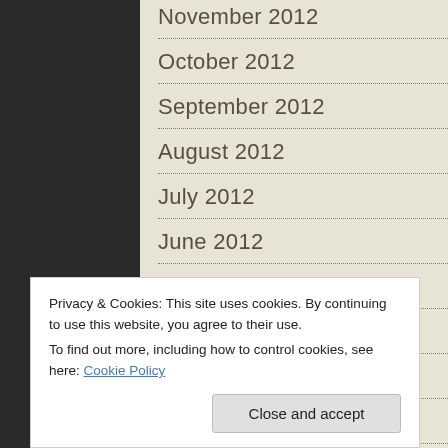November 2012
October 2012
September 2012
August 2012
July 2012
June 2012
May 2012
April 2012
March 2012
February 2012
Privacy & Cookies: This site uses cookies. By continuing to use this website, you agree to their use. To find out more, including how to control cookies, see here: Cookie Policy
Close and accept